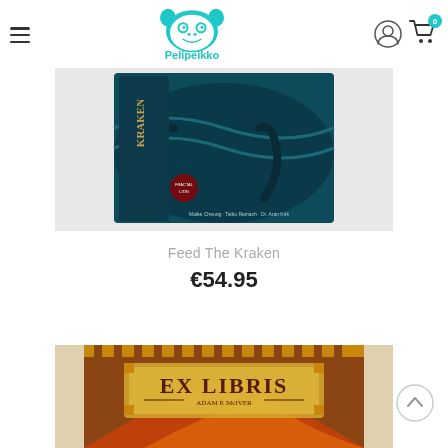Pelipeikko
[Figure (photo): Board game box for Feed The Kraken showing underwater kraken scene]
Feed The Kraken
€54.95
[Figure (photo): Board game box for Ex Libris showing fantasy library scene with the title Ex Libris by Adam P. McIver]